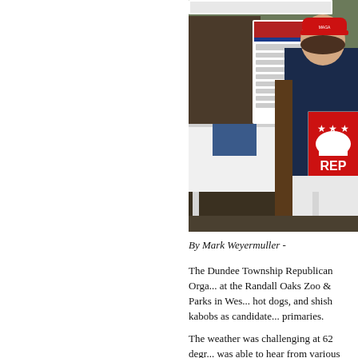[Figure (photo): Woman in navy blue hoodie and red MAGA cap holding a Republican elephant sign that reads 'REP... SAVE...' standing in front of a table with white tablecloth and Republican campaign signage at an outdoor event.]
By Mark Weyermuller -
The Dundee Township Republican Orga... at the Randall Oaks Zoo & Parks in Wes... hot dogs, and shish kabobs as candidate... primaries.
The weather was challenging at 62 degr... was able to hear from various Republica... national offices. Linda Practia, precinct...